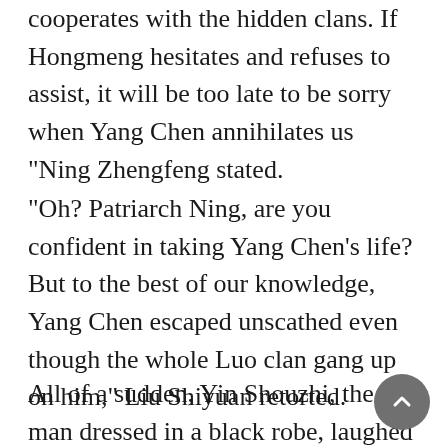cooperates with the hidden clans. If Hongmeng hesitates and refuses to assist, it will be too late to be sorry when Yang Chen annihilates us "Ning Zhengfeng stated.
"Oh? Patriarch Ning, are you confident in taking Yang Chen's life? But to the best of our knowledge, Yang Chen escaped unscathed even though the whole Luo clan gang up on him," Liu Shiyuan retorted.
All of a sudden, Yin Shouzhi, the old man dressed in a black robe, laughed menacingly.